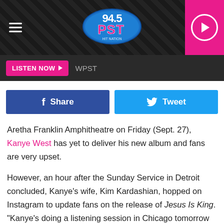94.5 PST radio station header with hamburger menu and play button
LISTEN NOW ▶  WPST
[Figure (logo): 94.5 PST radio station logo in blue oval with pink/white stylized text]
Share  Tweet
Aretha Franklin Amphitheatre on Friday (Sept. 27), Kanye West has yet to deliver his new album and fans are very upset.
However, an hour after the Sunday Service in Detroit concluded, Kanye's wife, Kim Kardashian, hopped on Instagram to update fans on the release of Jesus Is King. "Kanye's doing a listening session in Chicago tomorrow [Sept. 28], then NYC on Sunday [Sept. 29]. He's dropping the